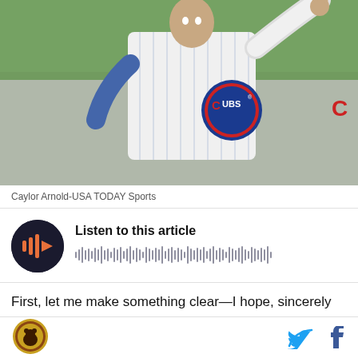[Figure (photo): Baseball player in Chicago Cubs white pinstripe jersey mid-pitch or throwing motion, arm raised, photographed against a green stadium background]
Caylor Arnold-USA TODAY Sports
[Figure (infographic): Audio player widget with dark circular play button featuring orange play icon, title 'Listen to this article', and a waveform visualization]
First, let me make something clear—I hope, sincerely
[Figure (logo): Chicago Bears-style circular logo with bear head]
[Figure (other): Twitter and Facebook social media share icons]